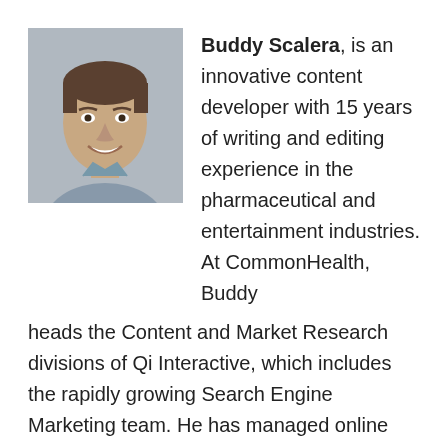[Figure (photo): Headshot photo of Buddy Scalera, a smiling man in a blue shirt]
Buddy Scalera, is an innovative content developer with 15 years of writing and editing experience in the pharmaceutical and entertainment industries. At CommonHealth, Buddy heads the Content and Market Research divisions of Qi Interactive, which includes the rapidly growing Search Engine Marketing team. He has managed online marketing campaigns for consumers and physicians using Flash, HTML, and video. Buddy has written and edited content for newspapers, websites, promotional videos, CD-ROMs, books, text books, comic books, magazines, and more.